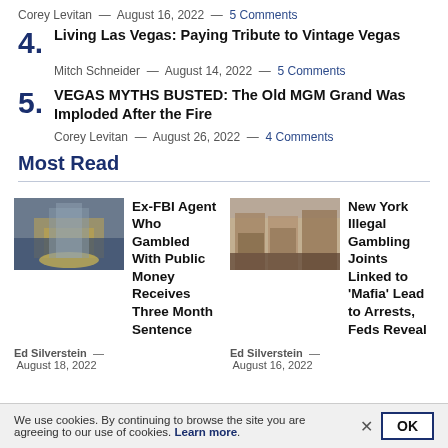Corey Levitan — August 16, 2022 — 5 Comments
4. Living Las Vegas: Paying Tribute to Vintage Vegas
Mitch Schneider — August 14, 2022 — 5 Comments
5. VEGAS MYTHS BUSTED: The Old MGM Grand Was Imploded After the Fire
Corey Levitan — August 26, 2022 — 4 Comments
Most Read
[Figure (photo): Casino building with fountains at dusk]
Ex-FBI Agent Who Gambled With Public Money Receives Three Month Sentence
Ed Silverstein — August 18, 2022
[Figure (photo): New York street storefront]
New York Illegal Gambling Joints Linked to 'Mafia' Lead to Arrests, Feds Reveal
Ed Silverstein — August 16, 2022
We use cookies. By continuing to browse the site you are agreeing to our use of cookies. Learn more.